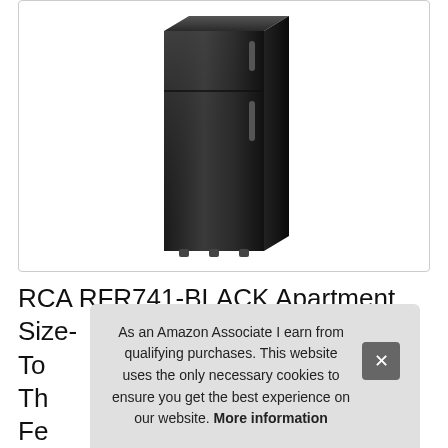[Figure (photo): A black upright apartment-size refrigerator/freezer shown against a white background, viewed from a slight angle showing the front and right side, with small feet visible at the bottom.]
RCA RFR741-BLACK Apartment Size-
To
Th
Fe
As an Amazon Associate I earn from qualifying purchases. This website uses the only necessary cookies to ensure you get the best experience on our website. More information